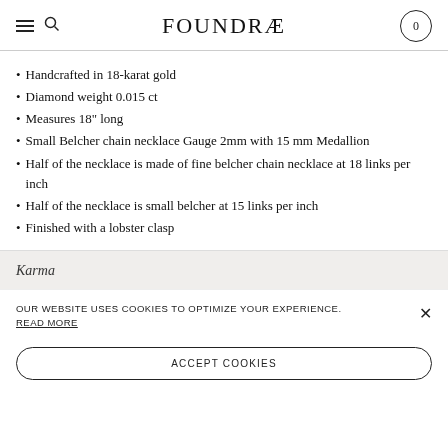FOUNDRÆ
Handcrafted in 18-karat gold
Diamond weight 0.015 ct
Measures 18" long
Small Belcher chain necklace Gauge 2mm with 15 mm Medallion
Half of the necklace is made of fine belcher chain necklace at 18 links per inch
Half of the necklace is small belcher at 15 links per inch
Finished with a lobster clasp
Karma
OUR WEBSITE USES COOKIES TO OPTIMIZE YOUR EXPERIENCE. READ MORE
ACCEPT COOKIES